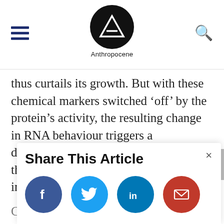Anthropocene
thus curtails its growth. But with these chemical markers switched ‘off’ by the protein’s activity, the resulting change in RNA behaviour triggers a downstream cascade of effects that take the cap off growth—and drive a surge in yields.
Share This Article
[Figure (infographic): Social share buttons: Facebook (blue), Twitter (light blue), LinkedIn (dark blue), Email (red)]